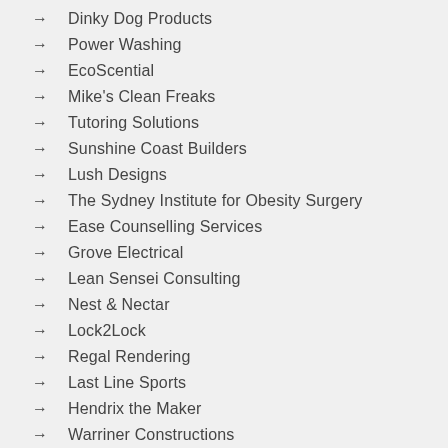Dinky Dog Products
Power Washing
EcoScential
Mike's Clean Freaks
Tutoring Solutions
Sunshine Coast Builders
Lush Designs
The Sydney Institute for Obesity Surgery
Ease Counselling Services
Grove Electrical
Lean Sensei Consulting
Nest & Nectar
Lock2Lock
Regal Rendering
Last Line Sports
Hendrix the Maker
Warriner Constructions